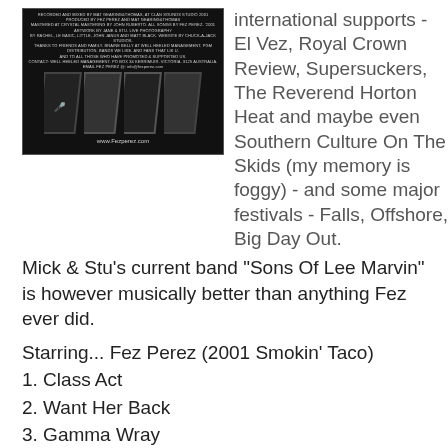[Figure (photo): Album/CD back cover for Fez Perez showing small print credits text at top and four black-and-white live performance photos arranged in a row with a white border skew effect, plus www.Fezperez.com URL at bottom, all on black background]
international supports - El Vez, Royal Crown Review, Supersuckers, The Reverend Horton Heat and maybe even Southern Culture On The Skids (my memory is foggy) - and some major festivals - Falls, Offshore, Big Day Out.
Mick & Stu's current band "Sons Of Lee Marvin" is however musically better than anything Fez ever did.
Starring... Fez Perez (2001 Smokin' Taco)
1. Class Act
2. Want Her Back
3. Gamma Wray
4. Beef
5. Roulette
Free Mp3s with cover art below. (Mick, Stu, Matt, let me know if